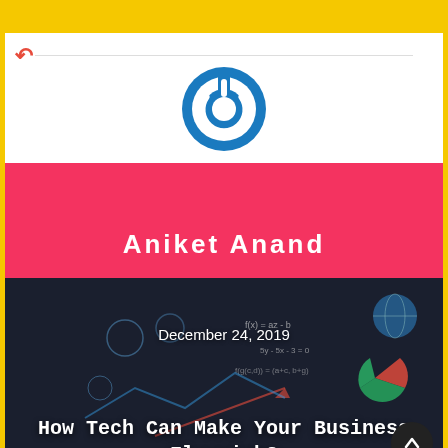[Figure (logo): Circular power button logo in blue and white]
Aniket Anand
[Figure (photo): Dark background photo of a person with technology/math graphics overlaid]
December 24, 2019
How Tech Can Make Your Business Flourish?